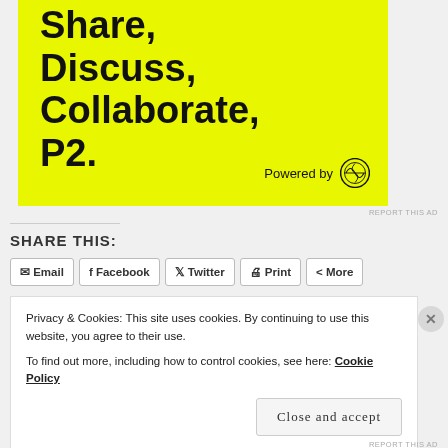[Figure (illustration): Yellow advertisement banner with bold black text reading 'Share, Discuss, Collaborate, P2.' and 'Powered by' with WordPress logo]
REPORT THIS AD
SHARE THIS:
Email  Facebook  Twitter  Print  More
Privacy & Cookies: This site uses cookies. By continuing to use this website, you agree to their use.
To find out more, including how to control cookies, see here: Cookie Policy
Close and accept
REPORT THIS AD